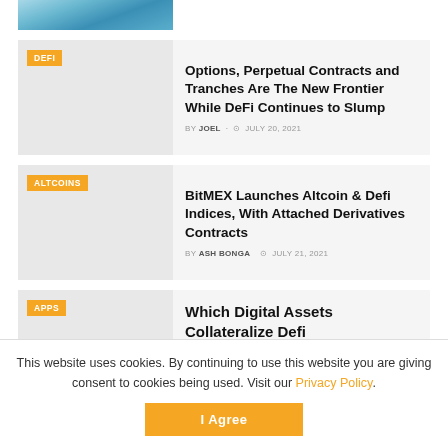[Figure (photo): Partial top image of a cryptocurrency/tech themed photo with blue digital background]
DEFI | Options, Perpetual Contracts and Tranches Are The New Frontier While DeFi Continues to Slump | BY JOEL · JULY 20, 2021
ALTCOINS | BitMEX Launches Altcoin & Defi Indices, With Attached Derivatives Contracts | BY ASH BONGA · JULY 21, 2021
APPS | Which Digital Assets Collateralize Defi
This website uses cookies. By continuing to use this website you are giving consent to cookies being used. Visit our Privacy Policy.
I Agree